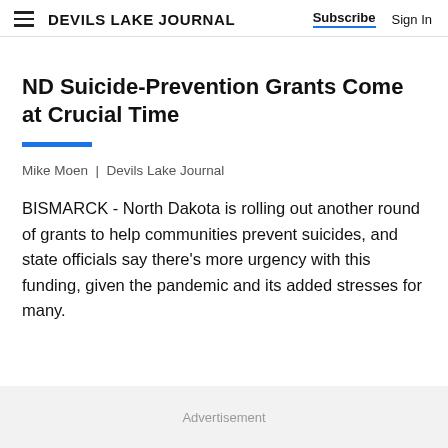DEVILS LAKE JOURNAL | Subscribe  Sign In
ND Suicide-Prevention Grants Come at Crucial Time
Mike Moen  |  Devils Lake Journal
BISMARCK - North Dakota is rolling out another round of grants to help communities prevent suicides, and state officials say there's more urgency with this funding, given the pandemic and its added stresses for many.
Advertisement